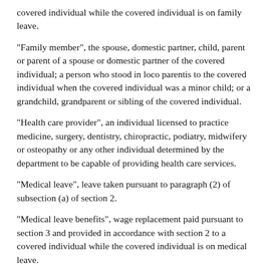covered individual while the covered individual is on family leave.
"Family member", the spouse, domestic partner, child, parent or parent of a spouse or domestic partner of the covered individual; a person who stood in loco parentis to the covered individual when the covered individual was a minor child; or a grandchild, grandparent or sibling of the covered individual.
"Health care provider", an individual licensed to practice medicine, surgery, dentistry, chiropractic, podiatry, midwifery or osteopathy or any other individual determined by the department to be capable of providing health care services.
"Medical leave", leave taken pursuant to paragraph (2) of subsection (a) of section 2.
"Medical leave benefits", wage replacement paid pursuant to section 3 and provided in accordance with section 2 to a covered individual while the covered individual is on medical leave.
"Qualifying exigency", a need arising out of a covered individual's family member's active duty service or notice of an impending call or order to active duty in the Armed Forces,